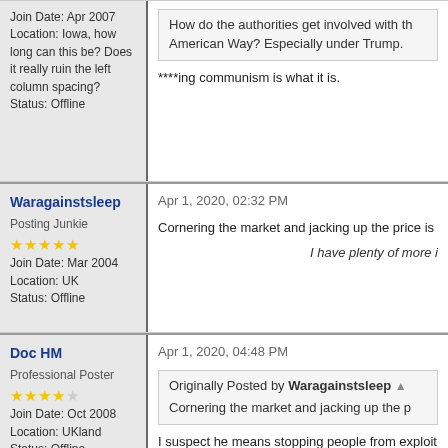Join Date: Apr 2007
Location: Iowa, how long can this be? Does it really ruin the left column spacing?
Status: Offline
How do the authorities get involved with the American Way? Especially under Trump.
****ing communism is what it is.
Waragainstsleep
Posting Junkie
★★★★★
Join Date: Mar 2004
Location: UK
Status: Offline
Apr 1, 2020, 02:32 PM
Cornering the market and jacking up the price is
I have plenty of more i
Doc HM
Professional Poster
★★★★☆
Join Date: Oct 2008
Location: UKland
Status: Offline
Apr 1, 2020, 04:48 PM
Originally Posted by Waragainstsleep
Cornering the market and jacking up the p
I suspect he means stopping people from exploit
I always think of George Bush on TV in 2007 exp